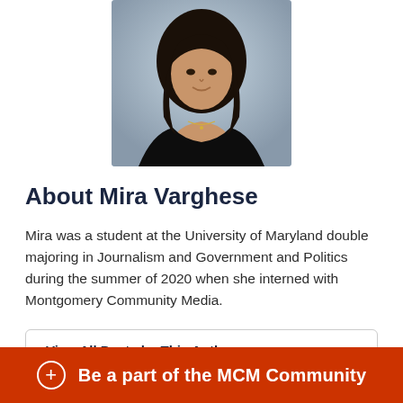[Figure (photo): Headshot photo of Mira Varghese, a young woman with long dark hair wearing a black off-shoulder top, against a light blue-grey background]
About Mira Varghese
Mira was a student at the University of Maryland double majoring in Journalism and Government and Politics during the summer of 2020 when she interned with Montgomery Community Media.
View All Posts by This Author >
Be a part of the MCM Community